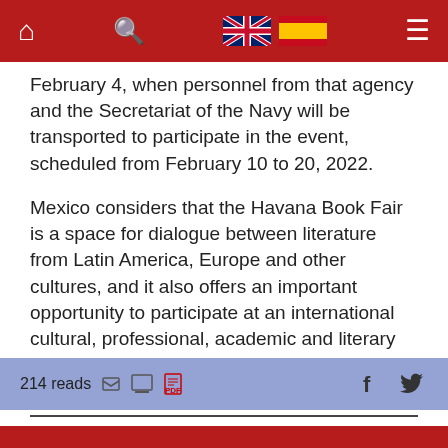Navigation bar with home, search, UK flag, Spain flag, hamburger menu
February 4, when personnel from that agency and the Secretariat of the Navy will be transported to participate in the event, scheduled from February 10 to 20, 2022.
Mexico considers that the Havana Book Fair is a space for dialogue between literature from Latin America, Europe and other cultures, and it also offers an important opportunity to participate at an international cultural, professional, academic and literary event, the Veracruz publication adds.
214 reads